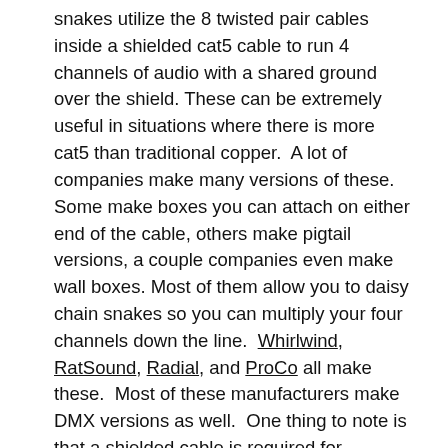snakes utilize the 8 twisted pair cables inside a shielded cat5 cable to run 4 channels of audio with a shared ground over the shield. These can be extremely useful in situations where there is more cat5 than traditional copper.  A lot of companies make many versions of these. Some make boxes you can attach on either end of the cable, others make pigtail versions, a couple companies even make wall boxes. Most of them allow you to daisy chain snakes so you can multiply your four channels down the line.  Whirlwind, RatSound, Radial, and ProCo all make these.  Most of these manufacturers make DMX versions as well.  One thing to note is that a shielded cable is required for phantom power.
Come back next week when we dive into digital networking and all the different formats in use today. We'll also touch on best practices for digital networking and some ways to make sure you don't get into trouble when you're on the road. Look forward to the next few weeks of articles!